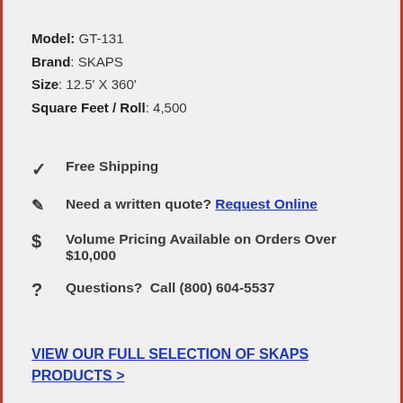Model: GT-131
Brand: SKAPS
Size: 12.5' X 360'
Square Feet / Roll: 4,500
✓  Free Shipping
✎  Need a written quote? Request Online
$  Volume Pricing Available on Orders Over $10,000
?  Questions?  Call (800) 604-5537
VIEW OUR FULL SELECTION OF SKAPS PRODUCTS >